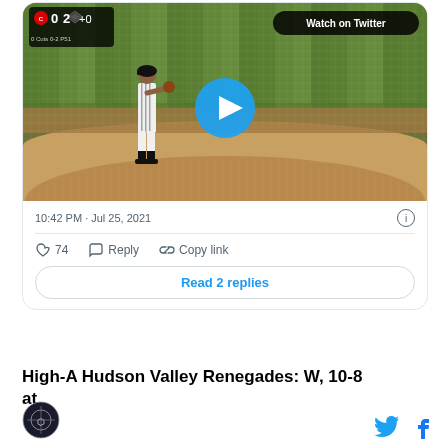[Figure (screenshot): Embedded tweet card showing a baseball game video thumbnail with a pitcher standing on the mound. Scoreboard overlay in top-left shows score 0-2. 'Watch on Twitter' button in top-right. Blue play button in center. Timestamp 10:42 PM · Jul 25, 2021. Actions: 74 likes, Reply, Copy link. 'Read 2 replies' button.]
10:42 PM · Jul 25, 2021
74  Reply  Copy link
Read 2 replies
High-A Hudson Valley Renegades: W, 10-8 at